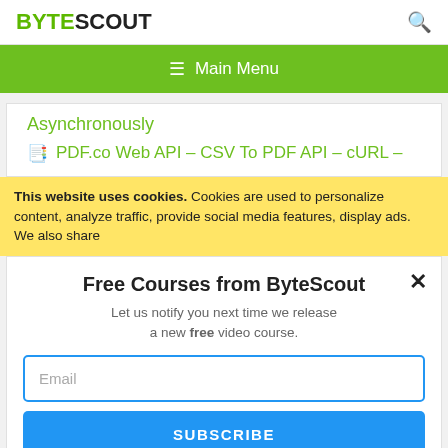BYTESCOUT
≡ Main Menu
Asynchronously
PDF.co Web API – CSV To PDF API – cURL –
This website uses cookies. Cookies are used to personalize content, analyze traffic, provide social media features, display ads. We also share
Free Courses from ByteScout
Let us notify you next time we release a new free video course.
Email
SUBSCRIBE